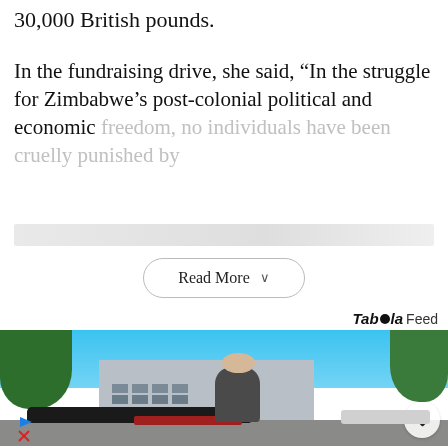30,000 British pounds.
In the fundraising drive, she said, “In the struggle for Zimbabwe’s post-colonial political and economic freedom, no individuals have been cruelly punished by [faded/obscured text]
Read More
Taboola Feed
[Figure (photo): Outdoor photo of a man standing in a parking lot in front of a building, with trees and cars visible in background under a blue sky.]
ADVERTISEMENT
[Figure (infographic): Advertisement with circular logo (infinity symbol), checkmark icon, text 'In-store shopping', and navigation arrow icon. Below are play and close buttons.]